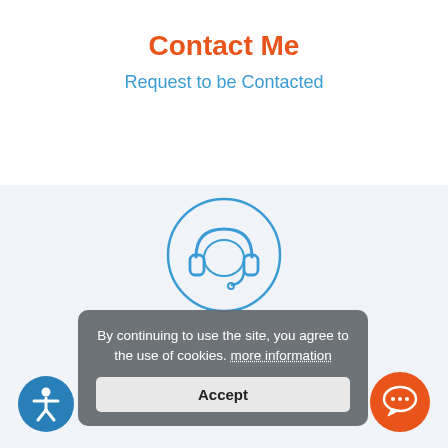Contact Me
Request to be Contacted
[Figure (illustration): Blue circle with a headset/customer support icon inside]
By continuing to use the site, you agree to the use of cookies. more information
Accept
[Figure (illustration): Blue circle accessibility icon (wheelchair person) in bottom left]
[Figure (illustration): Orange circle chat/speech bubble icon in bottom right]